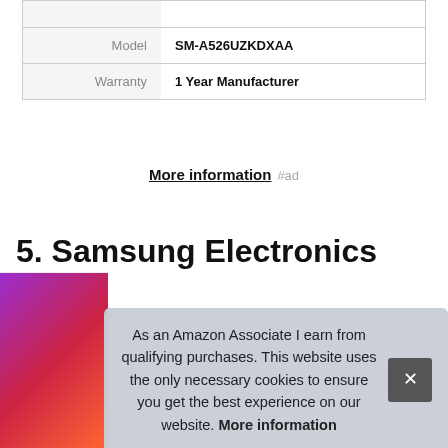|  |  |
| Model | SM-A526UZKDXAA |
| Warranty | 1 Year Manufacturer |
More information #ad
5. Samsung Electronics
#ad
As an Amazon Associate I earn from qualifying purchases. This website uses the only necessary cookies to ensure you get the best experience on our website. More information